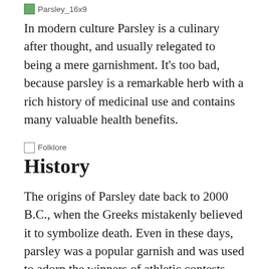[Figure (illustration): Small broken image icon labeled Parsley_16x9]
In modern culture Parsley is a culinary after thought, and usually relegated to being a mere garnishment. It’s too bad, because parsley is a remarkable herb with a rich history of medicinal use and contains many valuable health benefits.
[Figure (illustration): Small broken image icon labeled Folklore]
History
The origins of Parsley date back to 2000 B.C., when the Greeks mistakenly believed it to symbolize death. Even in these days, parsley was a popular garnish and was used to adorn the winners of athletic contests and was put on the graves of the deceased. Its first recorded